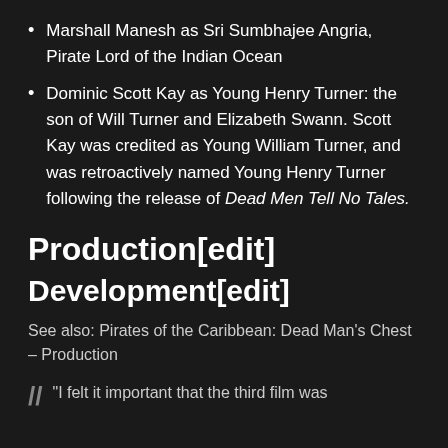Marshall Manesh as Sri Sumbhajee Angria, Pirate Lord of the Indian Ocean
Dominic Scott Kay as Young Henry Turner: the son of Will Turner and Elizabeth Swann. Scott Kay was credited as Young William Turner, and was retroactively named Young Henry Turner following the release of Dead Men Tell No Tales.
Production[edit]
Development[edit]
See also: Pirates of the Caribbean: Dead Man's Chest – Production
"I felt it important that the third film was